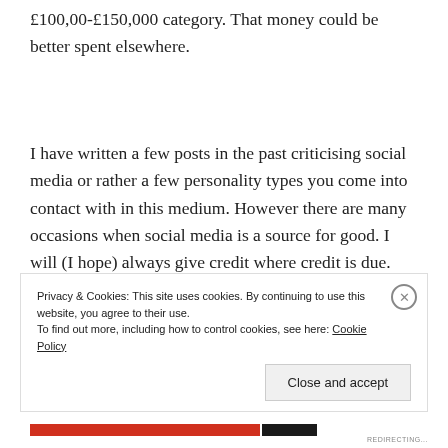£100,00-£150,000 category. That money could be better spent elsewhere.
I have written a few posts in the past criticising social media or rather a few personality types you come into contact with in this medium. However there are many occasions when social media is a source for good. I will (I hope) always give credit where credit is due.
Privacy & Cookies: This site uses cookies. By continuing to use this website, you agree to their use.
To find out more, including how to control cookies, see here: Cookie Policy
Close and accept